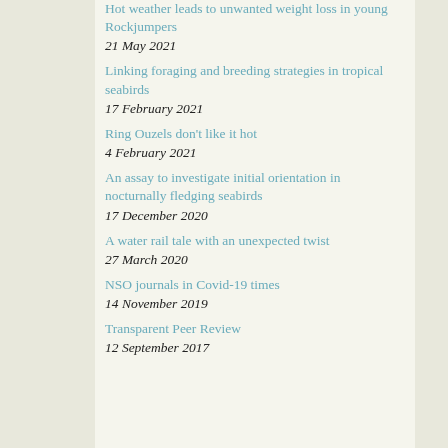Hot weather leads to unwanted weight loss in young Rockjumpers
21 May 2021
Linking foraging and breeding strategies in tropical seabirds
17 February 2021
Ring Ouzels don't like it hot
4 February 2021
An assay to investigate initial orientation in nocturnally fledging seabirds
17 December 2020
A water rail tale with an unexpected twist
27 March 2020
NSO journals in Covid-19 times
14 November 2019
Transparent Peer Review
12 September 2017